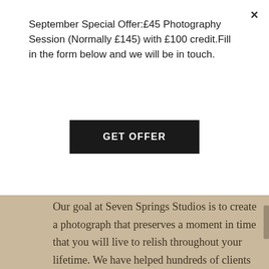September Special Offer:£45 Photography Session (Normally £145) with £100 credit.Fill in the form below and we will be in touch.
GET OFFER
Our goal at Seven Springs Studios is to create a photograph that preserves a moment in time that you will live to relish throughout your lifetime. We have helped hundreds of clients with their photo shoot needs with 100% customer satisfaction.
We also go above and beyond to ensure that you get the very best customer experience.